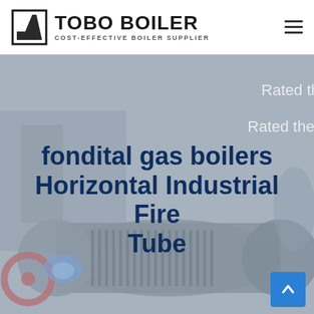TOBO BOILER — COST-EFFECTIVE BOILER SUPPLIER
[Figure (photo): Background photo of a horizontal industrial fire tube boiler machine, shown in muted gray-blue tones with overlaid transparency.]
Rated th
Rated ther
fondital gas boilers Horizontal Industrial Fire Tube